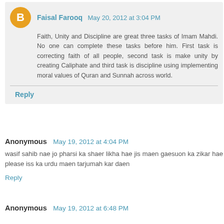Faisal Farooq  May 20, 2012 at 3:04 PM
Faith, Unity and Discipline are great three tasks of Imam Mahdi. No one can complete these tasks before him. First task is correcting faith of all people, second task is make unity by creating Caliphate and third task is discipline using implementing moral values of Quran and Sunnah across world.
Reply
Anonymous  May 19, 2012 at 4:04 PM
wasif sahib nae jo pharsi ka shaer likha hae jis maen gaesuon ka zikar hae please iss ka urdu maen tarjumah kar daen
Reply
Anonymous  May 19, 2012 at 6:48 PM